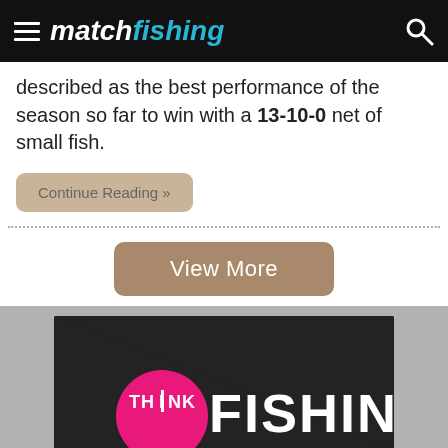matchfishing
described as the best performance of the season so far to win with a 13-10-0 net of small fish.
Continue Reading »
View More
[Figure (logo): THINK FISHING logo on dark background with pink circle containing 'THINK' text and large white 'FISHING' text]